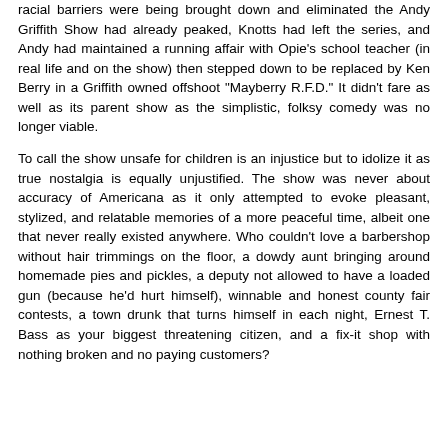racial barriers were being brought down and eliminated the Andy Griffith Show had already peaked, Knotts had left the series, and Andy had maintained a running affair with Opie's school teacher (in real life and on the show) then stepped down to be replaced by Ken Berry in a Griffith owned offshoot "Mayberry R.F.D." It didn't fare as well as its parent show as the simplistic, folksy comedy was no longer viable.
To call the show unsafe for children is an injustice but to idolize it as true nostalgia is equally unjustified. The show was never about accuracy of Americana as it only attempted to evoke pleasant, stylized, and relatable memories of a more peaceful time, albeit one that never really existed anywhere. Who couldn't love a barbershop without hair trimmings on the floor, a dowdy aunt bringing around homemade pies and pickles, a deputy not allowed to have a loaded gun (because he'd hurt himself), winnable and honest county fair contests, a town drunk that turns himself in each night, Ernest T. Bass as your biggest threatening citizen, and a fix-it shop with nothing broken and no paying customers?